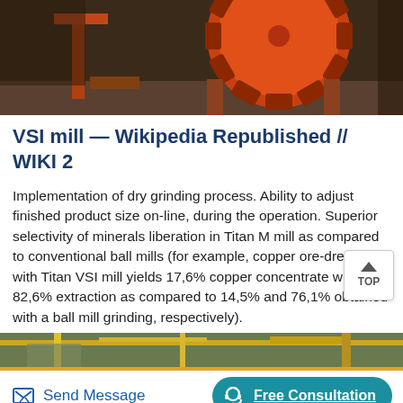[Figure (photo): Photo of orange industrial VSI mill machinery with large gear/flywheel mechanism on metal supports]
VSI mill — Wikipedia Republished // WIKI 2
Implementation of dry grinding process. Ability to adjust finished product size on-line, during the operation. Superior selectivity of minerals liberation in Titan M mill as compared to conventional ball mills (for example, copper ore-dressing with Titan VSI mill yields 17,6% copper concentrate with 82,6% extraction as compared to 14,5% and 76,1% obtained with a ball mill grinding, respectively).
[Figure (photo): Partial view of yellow industrial machinery at bottom of page]
Send Message   Free Consultation